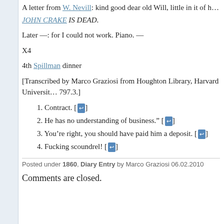A letter from W. Nevill: kind good dear old Will, little in it of h...
JOHN CRAKE IS DEAD.
Later —: for I could not work. Piano. —
X4
4th Spillman dinner
[Transcribed by Marco Graziosi from Houghton Library, Harvard University 797.3.]
1. Contract. [↩]
2. He has no understanding of business." [↩]
3. You're right, you should have paid him a deposit. [↩]
4. Fucking scoundrel! [↩]
Posted under 1860, Diary Entry by Marco Graziosi 06.02.2010
Comments are closed.